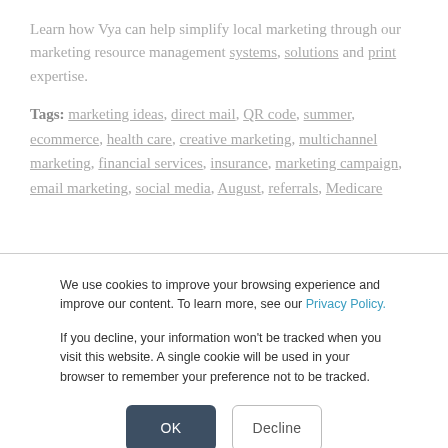Learn how Vya can help simplify local marketing through our marketing resource management systems, solutions and print expertise.
Tags: marketing ideas, direct mail, QR code, summer, ecommerce, health care, creative marketing, multichannel marketing, financial services, insurance, marketing campaign, email marketing, social media, August, referrals, Medicare
We use cookies to improve your browsing experience and improve our content. To learn more, see our Privacy Policy.
If you decline, your information won't be tracked when you visit this website. A single cookie will be used in your browser to remember your preference not to be tracked.